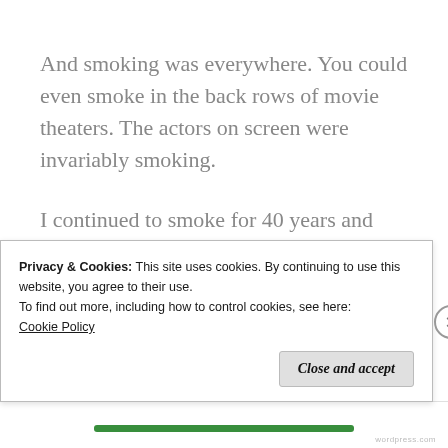And smoking was everywhere. You could even smoke in the back rows of movie theaters. The actors on screen were invariably smoking.
I continued to smoke for 40 years and finally quit with the help of nicotine gum. I chewed my last Nicorette while I was having a heart attack in the emergency room of a hospital. My
Privacy & Cookies: This site uses cookies. By continuing to use this website, you agree to their use.
To find out more, including how to control cookies, see here: Cookie Policy